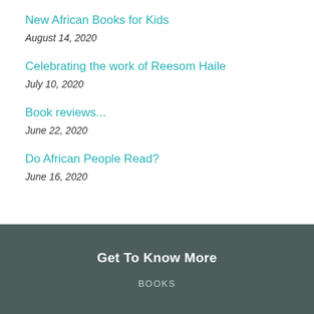New African Books for Kids
August 14, 2020
Celebrating the work of Reesom Haile
July 10, 2020
Book reviews...
June 22, 2020
Do African People Read?
June 16, 2020
Get To Know More
BOOKS
ABOUT US